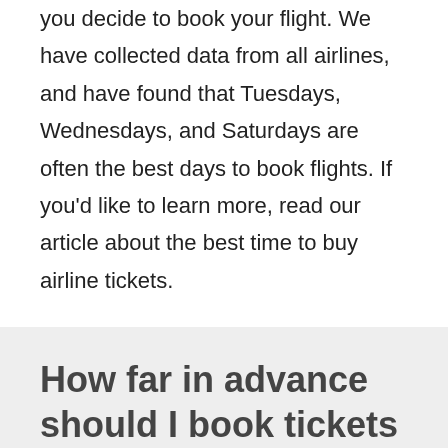you decide to book your flight. We have collected data from all airlines, and have found that Tuesdays, Wednesdays, and Saturdays are often the best days to book flights. If you'd like to learn more, read our article about the best time to buy airline tickets.
How far in advance should I book tickets from Trivandrum to Riyadh?
The chart below shows up-to-date information regarding how far in advance to book your flight from Trivandrum to Riyadh.